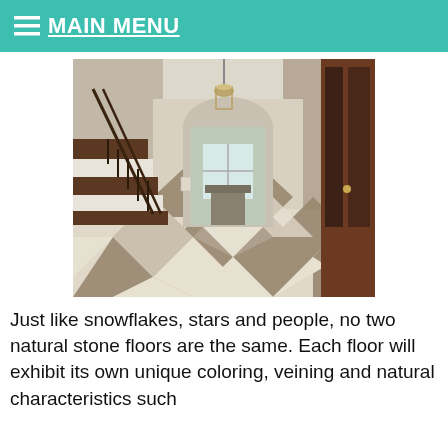≡ MAIN MENU
[Figure (photo): Interior foyer of a home with checkered stone tile floor in brown and cream diagonal pattern, wooden staircase on the left with dark wood banister, arched doorway leading to a room with a fireplace, pendant light fixture hanging from ceiling, dark wood front door on the right with sidelights.]
Just like snowflakes, stars and people, no two natural stone floors are the same. Each floor will exhibit its own unique coloring, veining and natural characteristics such